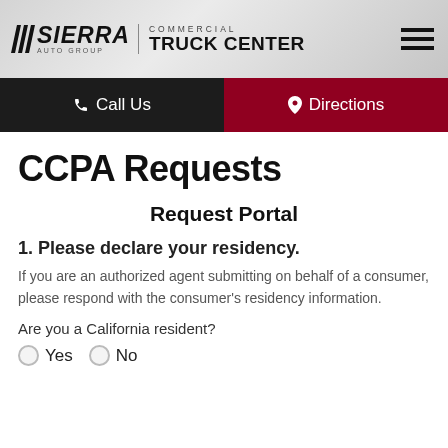SIERRA AUTO GROUP COMMERCIAL TRUCK CENTER
Call Us   Directions
CCPA Requests
Request Portal
1. Please declare your residency.
If you are an authorized agent submitting on behalf of a consumer, please respond with the consumer's residency information.
Are you a California resident?
Yes
No